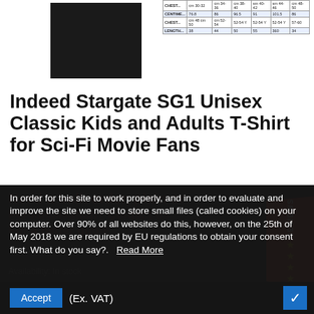[Figure (photo): Product photo of a black t-shirt and a size chart table]
Indeed Stargate SG1 Unisex Classic Kids and Adults T-Shirt for Sci-Fi Movie Fans
In order for this site to work properly, and in order to evaluate and improve the site we need to store small files (called cookies) on your computer. Over 90% of all websites do this, however, on the 25th of May 2018 we are required by EU regulations to obtain your consent first. What do you say?.  Read More
Accept  (Ex. VAT)